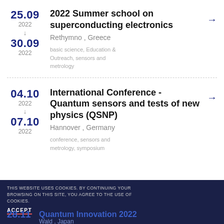25.09 2022 → 30.09 2022 | 2022 Summer school on superconducting electronics | Rethymno, Greece | basic science, Education & Outreach, sensors and metrology
04.10 2022 → 07.10 2022 | International Conference - Quantum sensors and tests of new physics (QSNP) | Hannover, Germany | conference, sensors and metrology, symposium
THIS WEBSITE USES COOKIES. BY CONTINUING YOUR BROWSING ON THIS SITE, YOU AGREE TO THE USE OF COOKIES. ACCEPT | 28.11 Quantum Innovation 2022 | Wald, Japan